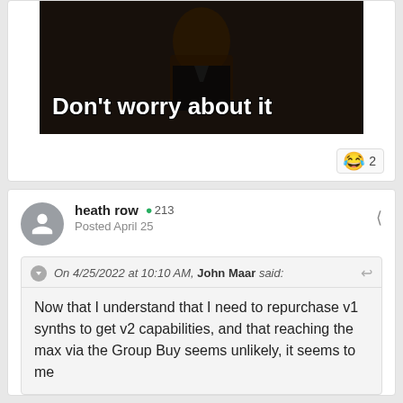[Figure (photo): Meme image with dark background showing a person in formal attire with bold white text reading 'Don't worry about it']
😂 2
heath row • 213
Posted April 25
On 4/25/2022 at 10:10 AM, John Maar said:
Now that I understand that I need to repurchase v1 synths to get v2 capabilities, and that reaching the max via the Group Buy seems unlikely, it seems to me